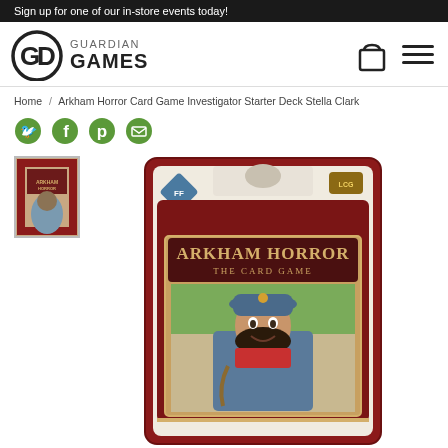Sign up for one of our in-store events today!
[Figure (logo): Guardian Games logo with circular GD monogram and text GUARDIAN GAMES]
Home / Arkham Horror Card Game Investigator Starter Deck Stella Clark
[Figure (infographic): Social sharing icons: Twitter, Facebook, Pinterest, Email]
[Figure (photo): Thumbnail image of Arkham Horror Card Game Investigator Starter Deck Stella Clark product packaging]
[Figure (photo): Main product image: Arkham Horror The Card Game Investigator Starter Deck Stella Clark packaging showing a woman in a blue hat against a red decorative background]